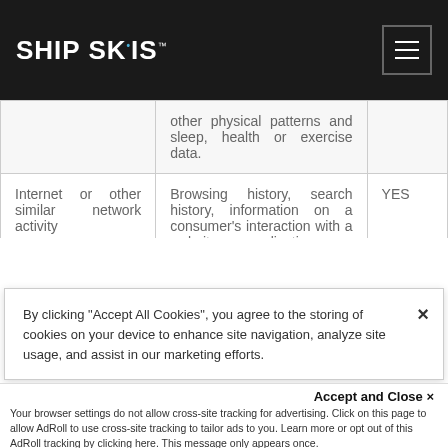SHIP SKIS
|  | other physical patterns and sleep, health or exercise data. |  |
| Internet or other similar network activity | Browsing history, search history, information on a consumer's interaction with a website, application or advertisement. | YES |
By clicking “Accept All Cookies”, you agree to the storing of cookies on your device to enhance site navigation, analyze site usage, and assist in our marketing efforts.
Accept and Close ×
Your browser settings do not allow cross-site tracking for advertising. Click on this page to allow AdRoll to use cross-site tracking to tailor ads to you. Learn more or opt out of this AdRoll tracking by clicking here. This message only appears once.